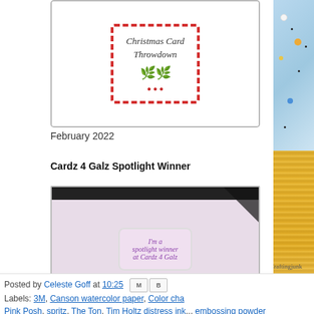[Figure (photo): Christmas Card Throwdown badge with holly decoration and red striped border]
February 2022
Cardz 4 Galz Spotlight Winner
[Figure (photo): Cardz 4 Galz spotlight winner badge with black ribbon and decorative elements]
October 2021
The Paper Players Cut Above
[Figure (photo): The Paper Players Cut Above badge with scissors graphic]
[Figure (photo): Crafting junk congratulations card with blue watercolor background, yellow embossed border, and sequins]
Posted by Celeste Goff at 10:25
Labels: 3M, Canson watercolor paper, Color cha... Pink Posh, spritz, The Ton, Tim Holtz distress ink... embossing powder